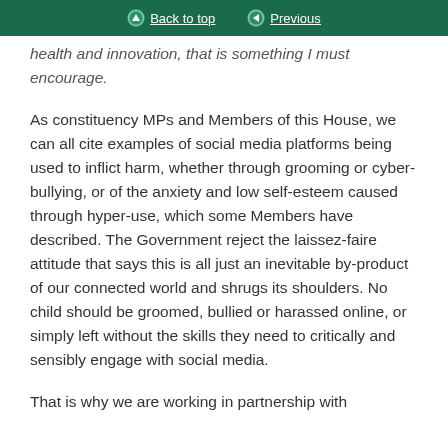Back to top  Previous
health and innovation, that is something I must encourage.
As constituency MPs and Members of this House, we can all cite examples of social media platforms being used to inflict harm, whether through grooming or cyber-bullying, or of the anxiety and low self-esteem caused through hyper-use, which some Members have described. The Government reject the laissez-faire attitude that says this is all just an inevitable by-product of our connected world and shrugs its shoulders. No child should be groomed, bullied or harassed online, or simply left without the skills they need to critically and sensibly engage with social media.
That is why we are working in partnership with